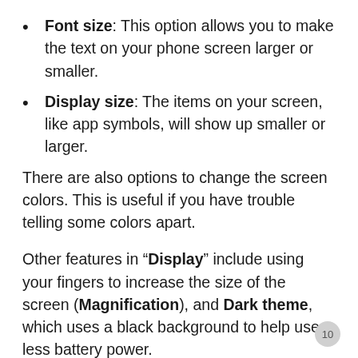Font size: This option allows you to make the text on your phone screen larger or smaller.
Display size: The items on your screen, like app symbols, will show up smaller or larger.
There are also options to change the screen colors. This is useful if you have trouble telling some colors apart.
Other features in “Display” include using your fingers to increase the size of the screen (Magnification), and Dark theme, which uses a black background to help use less battery power.